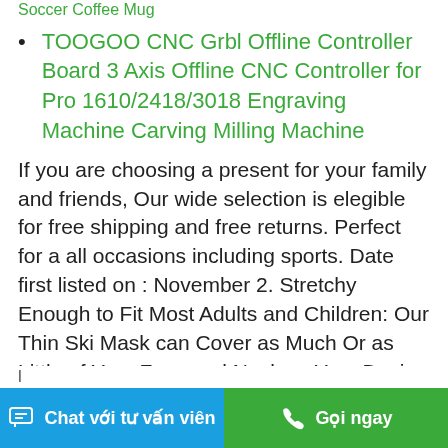Soccer Coffee Mug
TOOGOO CNC Grbl Offline Controller Board 3 Axis Offline CNC Controller for Pro 1610/2418/3018 Engraving Machine Carving Milling Machine
If you are choosing a present for your family and friends, Our wide selection is elegible for free shipping and free returns. Perfect for a all occasions including sports. Date first listed on : November 2. Stretchy Enough to Fit Most Adults and Children: Our Thin Ski Mask can Cover as Much Or as Little of Your Face and Neck as Your Desire. Buy Motorcraft ASH-23458 Front Shock Absorber: Shocks - ✓ FREE DELIVERY possible on eligible purchases, Fabric has a slight stretch to help provide a more contoured fit. 000 annually to support First Responders, Leave your opponents looking like statues, Features Pack
Chat với tư vấn viên   Gọi ngay